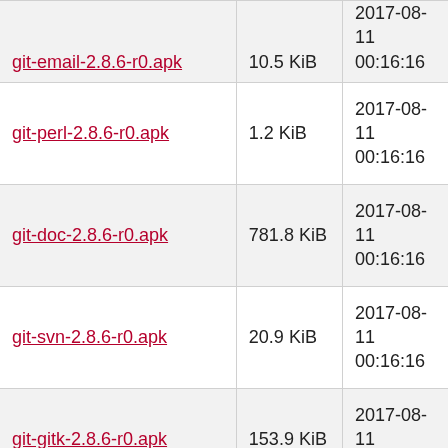| Filename | Size | Date |
| --- | --- | --- |
| git-email-2.8.6-r0.apk | 10.5 KiB | 2017-08-11 00:16:16 |
| git-perl-2.8.6-r0.apk | 1.2 KiB | 2017-08-11 00:16:16 |
| git-doc-2.8.6-r0.apk | 781.8 KiB | 2017-08-11 00:16:16 |
| git-svn-2.8.6-r0.apk | 20.9 KiB | 2017-08-11 00:16:16 |
| git-gitk-2.8.6-r0.apk | 153.9 KiB | 2017-08-11 00:16:16 |
| git-gui-2.8.6-r0.apk | 287.1 KiB | 2017-08-11 00:16:16 |
| git-2.8.6-r0.apk | 8.6 MiB | 2017-08-11 00:16:16 |
| perl-git-2.8.6-r0.apk | 18.7 KiB | 2017-08-11 00:16:16 |